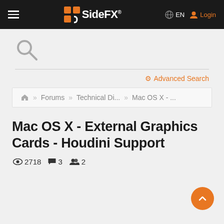SideFX — EN Login
[Figure (screenshot): Search icon and search bar area]
Advanced Search
» Forums » Technical Di... » Mac OS X - ...
Mac OS X - External Graphics Cards - Houdini Support
2718 views  3 comments  2 participants